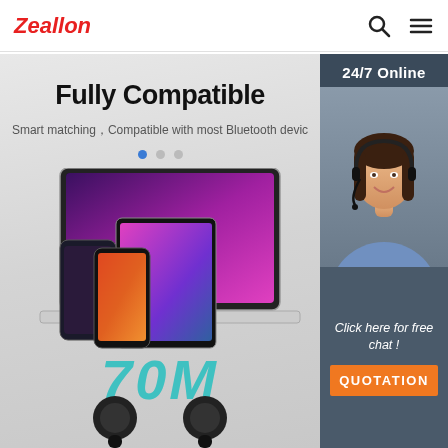Zeallon
[Figure (screenshot): Website banner showing 'Fully Compatible' headline with devices (laptop, tablet, smartphones) and '70M' range text, earbuds at bottom]
24/7 Online
[Figure (photo): Customer service agent, woman with headset smiling]
Click here for free chat !
QUOTATION